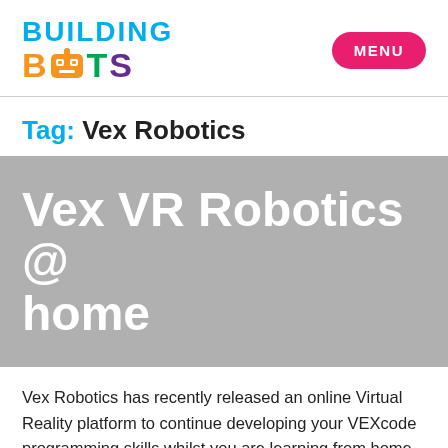[Figure (logo): Building Bots logo with colorful letters and robot icon]
Tag: Vex Robotics
Vex VR Robotics @ home
Vex Robotics has recently released an online Virtual Reality platform to continue developing your VEXcode programming skills whilst you are learning from home. VEXcode VR can block-based coding is a great...